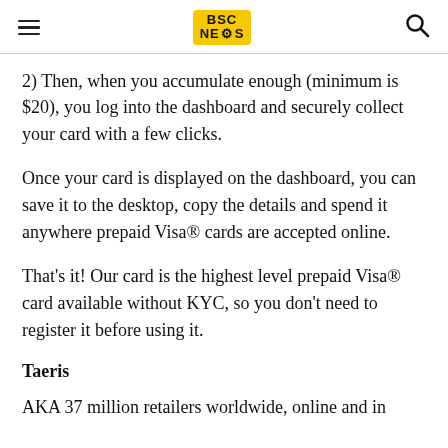BSC NEWS
2) Then, when you accumulate enough (minimum is $20), you log into the dashboard and securely collect your card with a few clicks.
Once your card is displayed on the dashboard, you can save it to the desktop, copy the details and spend it anywhere prepaid Visa® cards are accepted online.
That's it! Our card is the highest level prepaid Visa® card available without KYC, so you don't need to register it before using it.
Taeris
AKA 37 million retailers worldwide, online and in